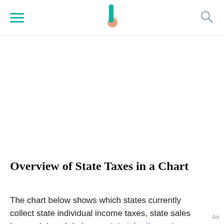Overview of State Taxes in a Chart
The chart below shows which states currently collect state individual income taxes, state sales taxes, state estate taxes, state inheritance taxes, and/or state gift